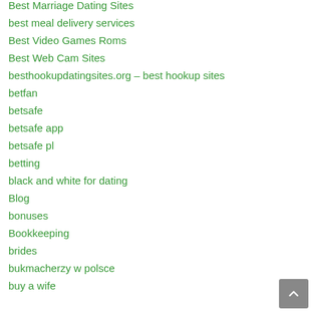Best Marriage Dating Sites
best meal delivery services
Best Video Games Roms
Best Web Cam Sites
besthookupdatingsites.org – best hookup sites
betfan
betsafe
betsafe app
betsafe pl
betting
black and white for dating
Blog
bonuses
Bookkeeping
brides
bukmacherzy w polsce
buy a wife